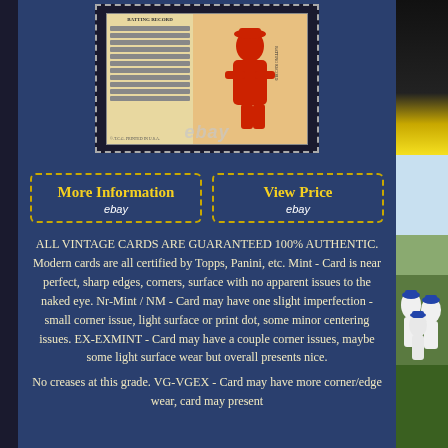[Figure (photo): Vintage baseball trading card in protective case/slab, showing back of card with stats table on left and player illustration on right. eBay watermark overlaid. Blue background.]
More Information
ebay
View Price
ebay
ALL VINTAGE CARDS ARE GUARANTEED 100% AUTHENTIC. Modern cards are all certified by Topps, Panini, etc. Mint - Card is near perfect, sharp edges, corners, surface with no apparent issues to the naked eye. Nr-Mint / NM - Card may have one slight imperfection - small corner issue, light surface or print dot, some minor centering issues. EX-EXMINT - Card may have a couple corner issues, maybe some light surface wear but overall presents nice.
No creases at this grade. VG-VGEX - Card may have more corner/edge wear, card may present